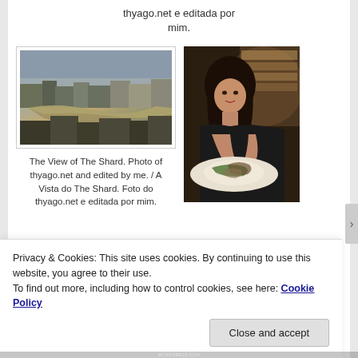thyago.net e editada por mim.
[Figure (photo): Aerial view of London with the River Thames winding through the city, seen from The Shard]
[Figure (photo): Woman sitting at a restaurant table eating a meal, in a warmly lit restaurant interior]
The View of The Shard. Photo of thyago.net and edited by me. / A Vista do The Shard. Foto do thyago.net e editada por mim.
Privacy & Cookies: This site uses cookies. By continuing to use this website, you agree to their use.
To find out more, including how to control cookies, see here: Cookie Policy